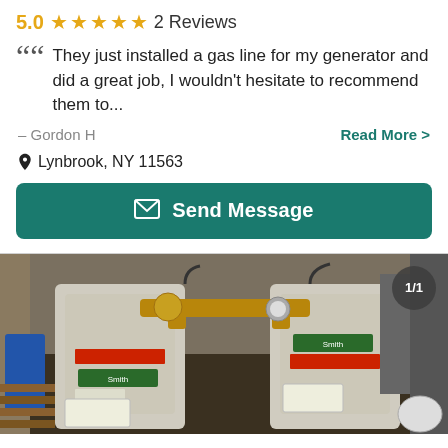5.0 ★★★★★ 2 Reviews
They just installed a gas line for my generator and did a great job, I wouldn't hesitate to recommend them to...
– Gordon H
Read More >
Lynbrook, NY 11563
Send Message
[Figure (photo): Two A.O. Smith water heaters connected by copper piping in a utility room, badge showing 1/1]